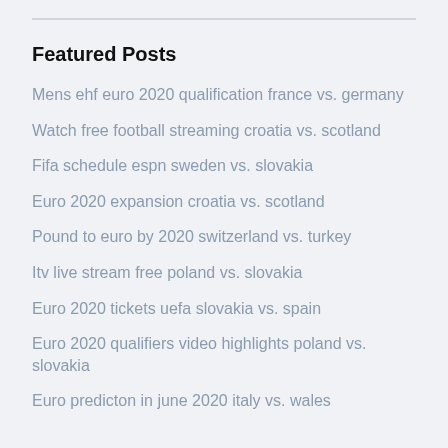Featured Posts
Mens ehf euro 2020 qualification france vs. germany
Watch free football streaming croatia vs. scotland
Fifa schedule espn sweden vs. slovakia
Euro 2020 expansion croatia vs. scotland
Pound to euro by 2020 switzerland vs. turkey
Itv live stream free poland vs. slovakia
Euro 2020 tickets uefa slovakia vs. spain
Euro 2020 qualifiers video highlights poland vs. slovakia
Euro predicton in june 2020 italy vs. wales